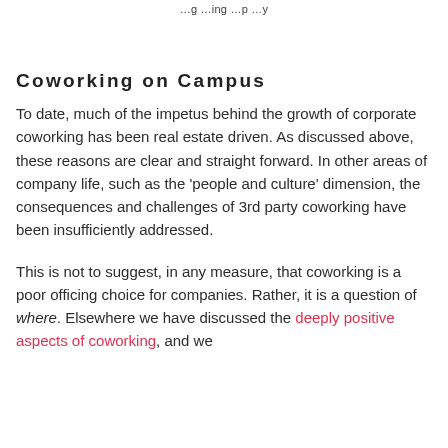…ng …ing …p …y
Coworking on Campus
To date, much of the impetus behind the growth of corporate coworking has been real estate driven. As discussed above, these reasons are clear and straight forward. In other areas of company life, such as the 'people and culture' dimension, the consequences and challenges of 3rd party coworking have been insufficiently addressed.
This is not to suggest, in any measure, that coworking is a poor officing choice for companies. Rather, it is a question of where. Elsewhere we have discussed the deeply positive aspects of coworking, and we